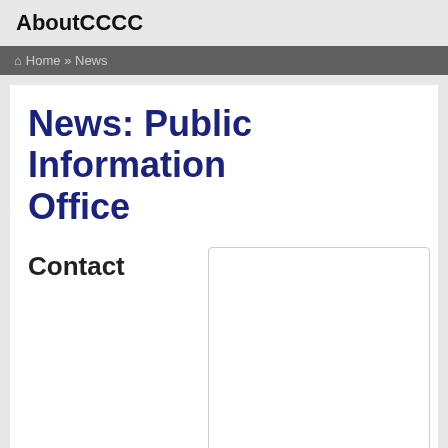AboutCCCC
🏠 Home » News
News: Public Information Office
Contact